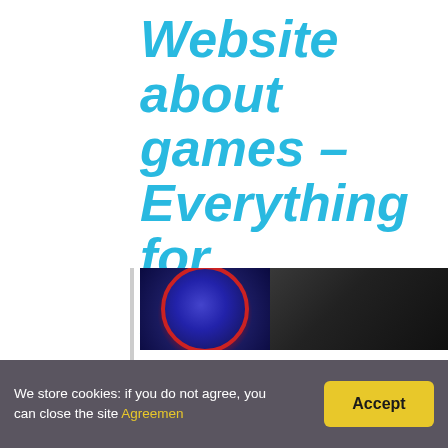Website about games – Everything for gamers
[Figure (photo): Article header image showing an AFL logo on a dark background with players]
How far do Aussie Rules players run?
Some players have the ability to grab the ball and clear d... player has to be maintained at an absolute level. The a...
We store cookies: if you do not agree, you can close the site Agreemen
Accept